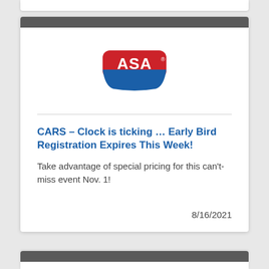[Figure (logo): ASA logo — red rounded rectangle top half with white 'ASA' text, blue swoosh bottom half]
CARS - Clock is ticking … Early Bird Registration Expires This Week!
Take advantage of special pricing for this can't-miss event Nov. 1!
8/16/2021